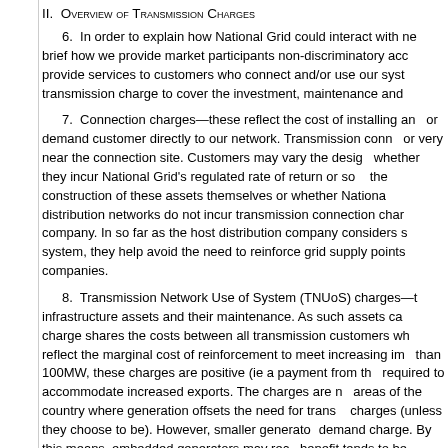II. Overview of Transmission Charges
6. In order to explain how National Grid could interact with new technologies, we describe briefly how we provide market participants non-discriminatory access to our networks. We provide services to customers who connect and/or use our system. We levy a transmission charge to cover the investment, maintenance and
7. Connection charges—these reflect the cost of installing and maintaining assets to connect a generation or demand customer directly to our network. Transmission connection assets are located at or very near the connection site. Customers may vary the design of their connection, including whether they incur National Grid's regulated rate of return or source funding themselves for the construction of these assets themselves or whether National Grid carries out the work. Customers on distribution networks do not incur transmission connection charges from the transmission company. In so far as the host distribution company considers storage to be part of their own system, they help avoid the need to reinforce grid supply points and reduce charges to distribution companies.
8. Transmission Network Use of System (TNUoS) charges—these reflect the costs of shared infrastructure assets and their maintenance. As such assets cannot be attributed to individual users, the charge shares the costs between all transmission customers who use the network. TNUoS tariffs reflect the marginal cost of reinforcement to meet increasing import and export demands. For generators of more than 100MW, these charges are positive (ie a payment from the generator) in areas where reinforcement is required to accommodate increased exports. The charges are negative (ie a credit to generators) in areas of the country where generation offsets the need for transmission reinforcement. Smaller generators are not subject to these charges (unless they choose to be). However, smaller generators do get a credit against the zonal demand charge. By this means, embedded generators may recover some of the benefit they provide. This benefit tends to be significantly larger in those areas where generation helps to delay transmission investment.